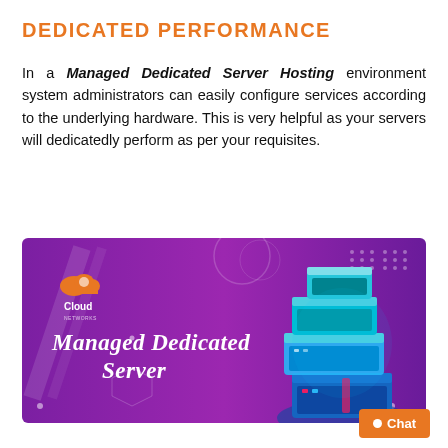DEDICATED PERFORMANCE
In a Managed Dedicated Server Hosting environment system administrators can easily configure services according to the underlying hardware. This is very helpful as your servers will dedicatedly perform as per your requisites.
[Figure (illustration): Purple/violet gradient banner image showing a 3D isometric server stack on the right side, with 'Managed Dedicated Server' written in white italic cursive text on the left, and a Cloud Networks logo in the upper left corner.]